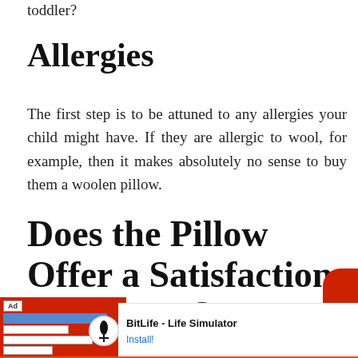toddler?
Allergies
The first step is to be attuned to any allergies your child might have. If they are allergic to wool, for example, then it makes absolutely no sense to buy them a woolen pillow.
Does the Pillow Offer a Satisfaction Guarantee?
In general, there is some form of warranty offered
[Figure (screenshot): Advertisement banner for BitLife - Life Simulator app with red background, Ad label, and Install button]